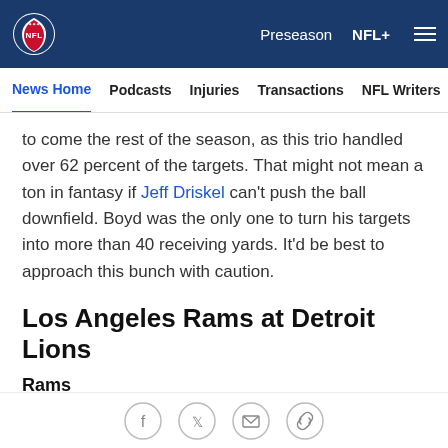NFL | Preseason  NFL+
News Home  Podcasts  Injuries  Transactions  NFL Writers  Se
to come the rest of the season, as this trio handled over 62 percent of the targets. That might not mean a ton in fantasy if Jeff Driskel can't push the ball downfield. Boyd was the only one to turn his targets into more than 40 receiving yards. It'd be best to approach this bunch with caution.
Los Angeles Rams at Detroit Lions
Rams
Backfield